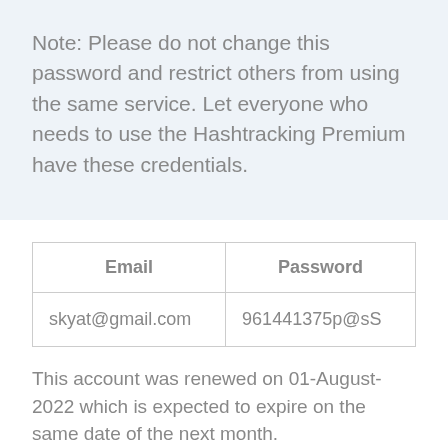Note: Please do not change this password and restrict others from using the same service. Let everyone who needs to use the Hashtracking Premium have these credentials.
| Email | Password |
| --- | --- |
| skyat@gmail.com | 961441375p@sS |
This account was renewed on 01-August-2022 which is expected to expire on the same date of the next month.